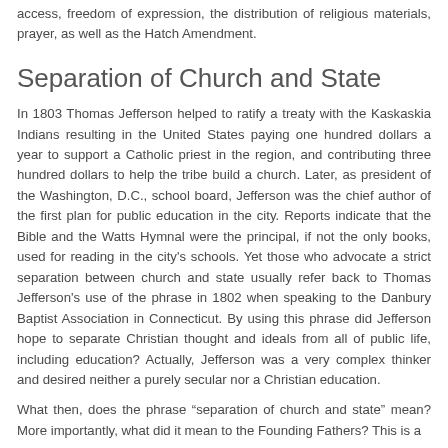access, freedom of expression, the distribution of religious materials, prayer, as well as the Hatch Amendment.
Separation of Church and State
In 1803 Thomas Jefferson helped to ratify a treaty with the Kaskaskia Indians resulting in the United States paying one hundred dollars a year to support a Catholic priest in the region, and contributing three hundred dollars to help the tribe build a church. Later, as president of the Washington, D.C., school board, Jefferson was the chief author of the first plan for public education in the city. Reports indicate that the Bible and the Watts Hymnal were the principal, if not the only books, used for reading in the city's schools. Yet those who advocate a strict separation between church and state usually refer back to Thomas Jefferson's use of the phrase in 1802 when speaking to the Danbury Baptist Association in Connecticut. By using this phrase did Jefferson hope to separate Christian thought and ideals from all of public life, including education? Actually, Jefferson was a very complex thinker and desired neither a purely secular nor a Christian education.
What then, does the phrase “separation of church and state” mean? More importantly, what did it mean to the Founding Fathers? This is a